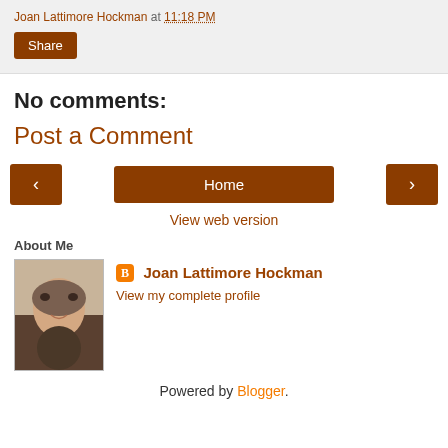Joan Lattimore Hockman at 11:18 PM
Share
No comments:
Post a Comment
< Home >
View web version
About Me
[Figure (photo): Profile photo of Joan Lattimore Hockman, a woman with short grey hair, smiling.]
Joan Lattimore Hockman
View my complete profile
Powered by Blogger.